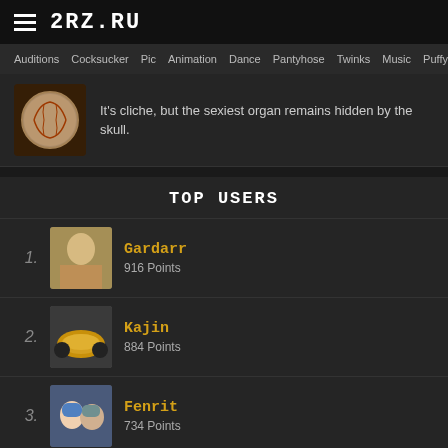2RZ.RU
Auditions Cocksucker Pic Animation Dance Pantyhose Twinks Music Puffy
It's cliche, but the sexiest organ remains hidden by the skull.
TOP USERS
1. Gardarr — 916 Points
2. Kajin — 884 Points
3. Fenrit — 734 Points
4. Yozragore — 602 Points
5. Mazuramar — 589 Points